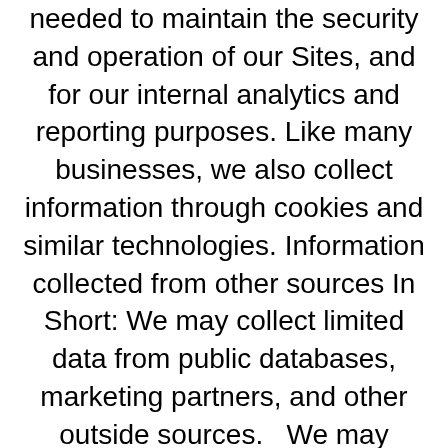needed to maintain the security and operation of our Sites, and for our internal analytics and reporting purposes. Like many businesses, we also collect information through cookies and similar technologies. Information collected from other sources In Short: We may collect limited data from public databases, marketing partners, and other outside sources.   We may obtain information about you from other sources, such as public databases, joint marketing partners, as well as from other third parties. Examples of the information we receive from other sources include: social media profile information; marketing leads and search results and links, including paid listings (such as sponsored links).